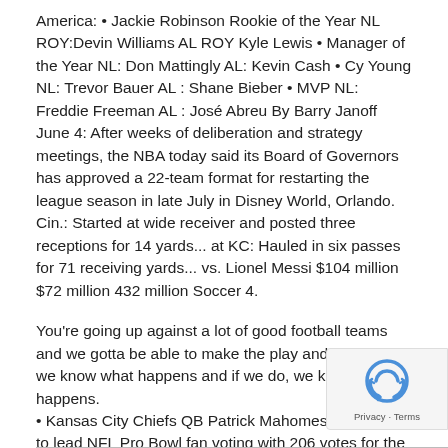America: • Jackie Robinson Rookie of the Year NL ROY:Devin Williams AL ROY Kyle Lewis • Manager of the Year NL: Don Mattingly AL: Kevin Cash • Cy Young NL: Trevor Bauer AL : Shane Bieber • MVP NL: Freddie Freeman AL : José Abreu By Barry Janoff June 4: After weeks of deliberation and strategy meetings, the NBA today said its Board of Governors has approved a 22-team format for restarting the league season in late July in Disney World, Orlando.
Cin.: Started at wide receiver and posted three receptions for 14 yards... at KC: Hauled in six passes for 71 receiving yards... vs. Lionel Messi $104 million $72 million 432 million Soccer 4.
You're going up against a lot of good football teams and we gotta be able to make the play and if we don't, we know what happens and if we do, we know what happens.
• Kansas City Chiefs QB Patrick Mahomes continues to lead NFL Pro Bowl fan voting with 206 votes for the 2021 Pro Bowl presented by Verizon.